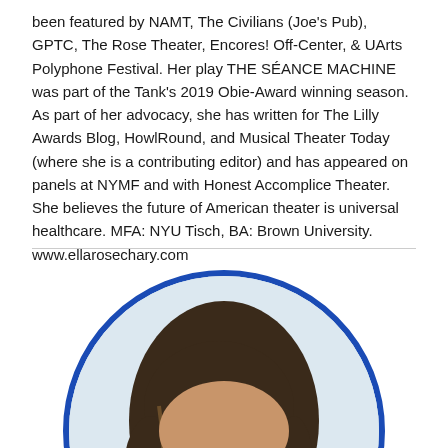been featured by NAMT, The Civilians (Joe's Pub), GPTC, The Rose Theater, Encores! Off-Center, & UArts Polyphone Festival. Her play THE SÉANCE MACHINE was part of the Tank's 2019 Obie-Award winning season. As part of her advocacy, she has written for The Lilly Awards Blog, HowlRound, and Musical Theater Today (where she is a contributing editor) and has appeared on panels at NYMF and with Honest Accomplice Theater. She believes the future of American theater is universal healthcare. MFA: NYU Tisch, BA: Brown University. www.ellarosechary.com
[Figure (photo): Circular headshot photo of a woman with dark hair, light brown skin, looking directly at the camera. The photo is framed in a blue circle border.]